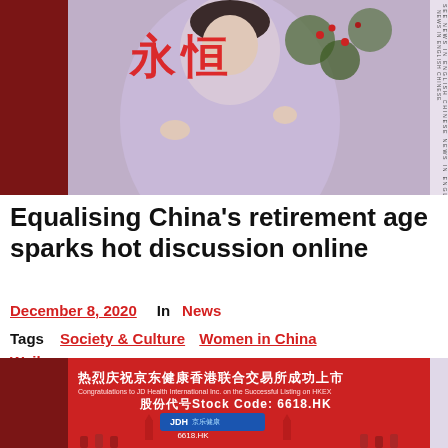[Figure (photo): Woman in light purple/lavender traditional clothing sitting outdoors near red flowers, with Chinese characters overlaid in red. Decorative sidebar with repeating text on the right.]
Equalising China's retirement age sparks hot discussion online
December 8, 2020   In News
Tags   Society & Culture   Women in China   Weibo
[Figure (photo): Red banner celebrating JD Health International Inc. listing on HKEX. Shows Chinese text: 热烈庆祝京东健康香港联合交易所成功上市, English: Congratulations to JD Health International Inc. on the Successful Listing on HKEX, Stock Code: 6618.HK, JDH logo, 6618.HK. People visible at bottom.]